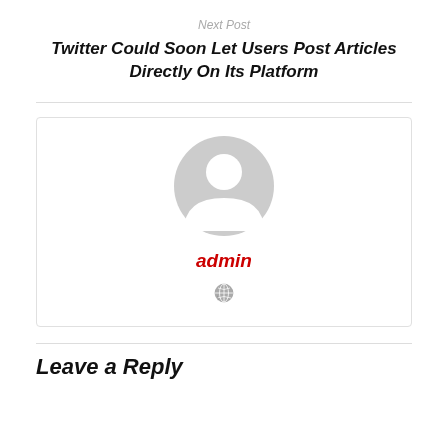Next Post
Twitter Could Soon Let Users Post Articles Directly On Its Platform
[Figure (illustration): Author profile box with a generic grey avatar/silhouette icon, username 'admin' in red italic bold text, and a small globe icon below.]
Leave a Reply